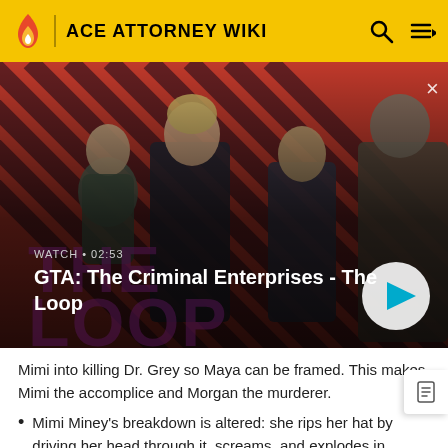ACE ATTORNEY WIKI
[Figure (screenshot): GTA: The Criminal Enterprises - The Loop video thumbnail with four characters on a red diagonal striped background. Text overlay: WATCH • 02:53, GTA: The Criminal Enterprises - The Loop. Play button visible.]
Mimi into killing Dr. Grey so Maya can be framed. This makes Mimi the accomplice and Morgan the murderer.
Mimi Miney's breakdown is altered: she rips her hat by driving her head through it, screams, and explodes in